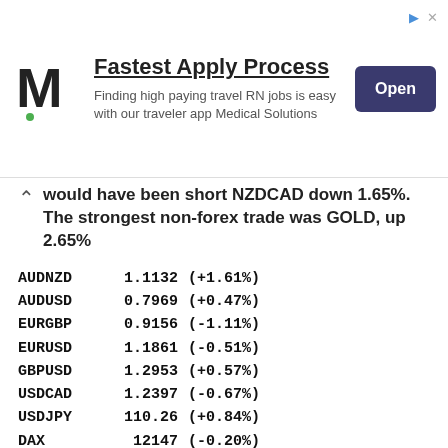[Figure (other): Advertisement banner: Medical Solutions 'Fastest Apply Process' ad with M logo, subtitle 'Finding high paying travel RN jobs is easy with our traveler app Medical Solutions', and an Open button]
would have been short NZDCAD down 1.65%. The strongest non-forex trade was GOLD, up 2.65%
| Instrument | Price | Change |
| --- | --- | --- |
| AUDNZD | 1.1132 | (+1.61%) |
| AUDUSD | 0.7969 | (+0.47%) |
| EURGBP | 0.9156 | (-1.11%) |
| EURUSD | 1.1861 | (-0.51%) |
| GBPUSD | 1.2953 | (+0.57%) |
| USDCAD | 1.2397 | (-0.67%) |
| USDJPY | 110.26 | (+0.84%) |
| DAX | 12147 | (-0.20%) |
| FTSE | 7447 | (+0.68%) |
| NIFTY | 9990 | (+0.99%) |
| NKY | 19696 | (+1.22%) |
| SPX | 2475.0 | (+1.29%) |
| GOLD | 1325.22 | (+2.65%) |
| OIL | 47.35 | (-1.07%) |